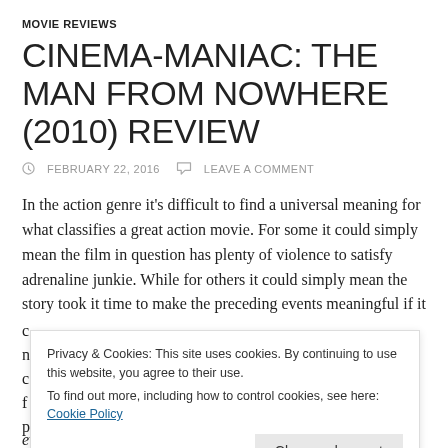MOVIE REVIEWS
CINEMA-MANIAC: THE MAN FROM NOWHERE (2010) REVIEW
FEBRUARY 22, 2016   LEAVE A COMMENT
In the action genre it’s difficult to find a universal meaning for what classifies a great action movie. For some it could simply mean the film in question has plenty of violence to satisfy adrenaline junkie. While for others it could simply mean the story took it time to make the preceding events meaningful if it
Privacy & Cookies: This site uses cookies. By continuing to use this website, you agree to their use.
To find out more, including how to control cookies, see here: Cookie Policy
even appears. If not accounted for this crucial building block